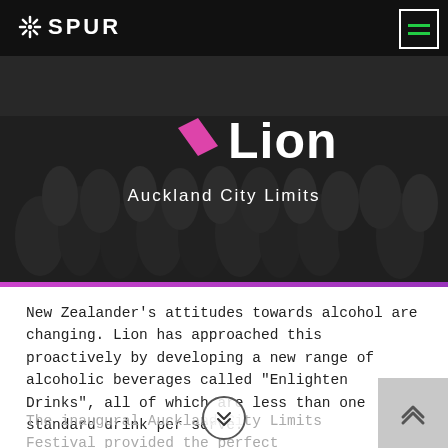SPUR
[Figure (photo): Dark/greyscale crowd photo at outdoor festival with Lion brand logo overlay showing pink diamond and 'Lion' in white text, subtitle 'Auckland City Limits']
Lion
Auckland City Limits
New Zealander's attitudes towards alcohol are changing. Lion has approached this proactively by developing a new range of alcoholic beverages called "Enlighten Drinks", all of which are less than one standard drink per serve.
The inaugural Auckland City Limits Festival provided the perfect opportunity to launch this new platform as the